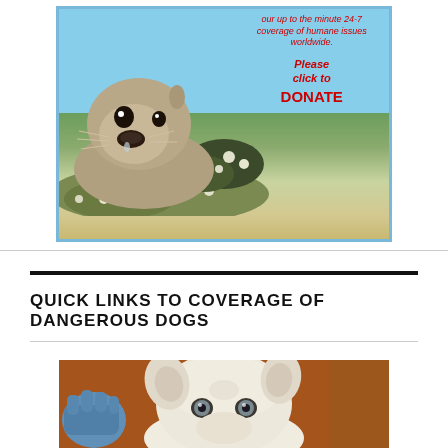[Figure (illustration): Advertisement showing a seal on rocks with text overlay. Text reads: 'our up to the minute 24-7 coverage of humane issues worldwide. Please click to DONATE']
QUICK LINKS TO COVERAGE OF DANGEROUS DOGS
[Figure (photo): Photo of a white/pale dog (pit bull type) being held by someone wearing blue gloves, against an orange/brown background.]